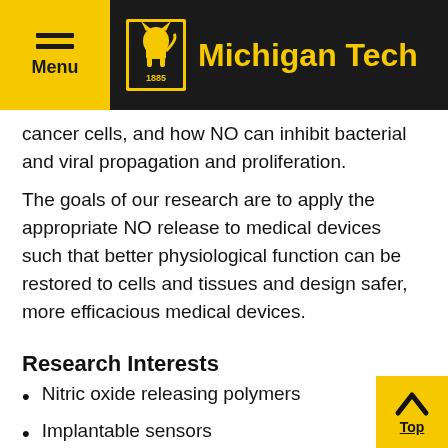Michigan Tech
cancer cells, and how NO can inhibit bacterial and viral propagation and proliferation.
The goals of our research are to apply the appropriate NO release to medical devices such that better physiological function can be restored to cells and tissues and design safer, more efficacious medical devices.
Research Interests
Nitric oxide releasing polymers
Implantable sensors
Biological response to polymeric materials